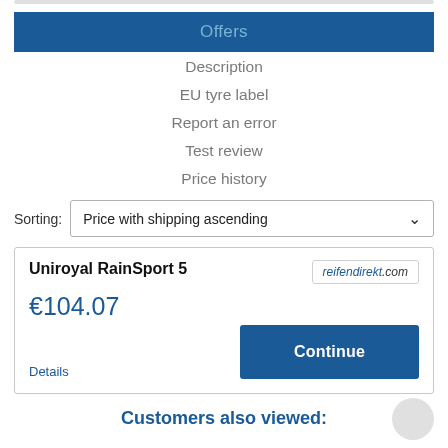Offers
Description
EU tyre label
Report an error
Test review
Price history
Sorting: Price with shipping ascending
| Product | Retailer | Price | Action |
| --- | --- | --- | --- |
| Uniroyal RainSport 5 | reifendirekt.com | €104.07 | Continue |
Details
Customers also viewed: